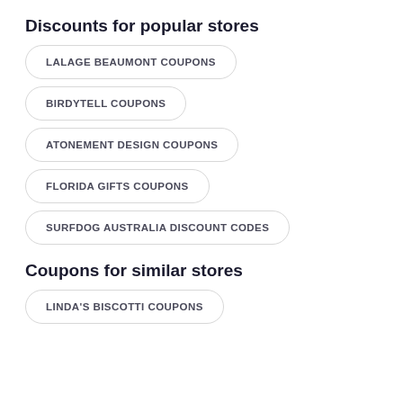Discounts for popular stores
LALAGE BEAUMONT COUPONS
BIRDYTELL COUPONS
ATONEMENT DESIGN COUPONS
FLORIDA GIFTS COUPONS
SURFDOG AUSTRALIA DISCOUNT CODES
Coupons for similar stores
LINDA'S BISCOTTI COUPONS